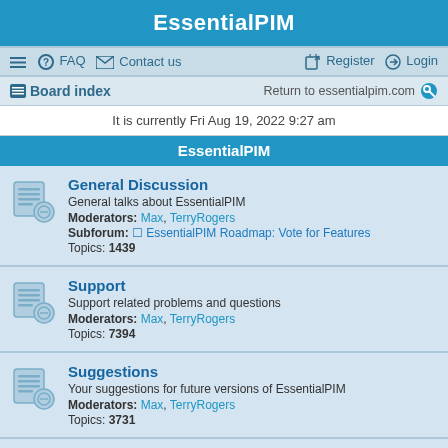EssentialPIM
≡  FAQ  ✉ Contact us    Register  Login
Board index    Return to essentialpim.com  🔍
It is currently Fri Aug 19, 2022 9:27 am
EssentialPIM
General Discussion
General talks about EssentialPIM
Moderators: Max, TerryRogers
Subforum: EssentialPIM Roadmap: Vote for Features
Topics: 1439
Support
Support related problems and questions
Moderators: Max, TerryRogers
Topics: 7394
Suggestions
Your suggestions for future versions of EssentialPIM
Moderators: Max, TerryRogers
Topics: 3731
EssentialPIM Pro Business
Business edition tips, tricks, problems and discussions
Moderators: Max, TerryRogers
Topics: 303
Cloud and Outlook Synchronization